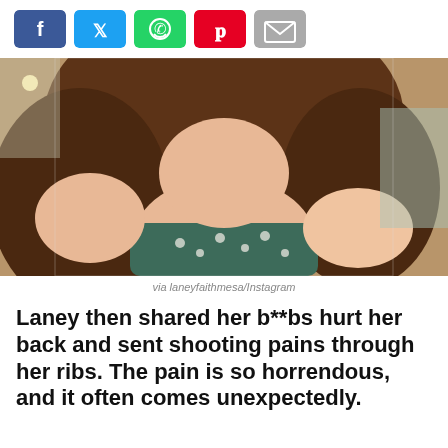[Figure (other): Social media share buttons: Facebook (blue), Twitter (light blue), WhatsApp (green), Pinterest (red), Email (gray)]
[Figure (photo): A woman with long brown hair wearing a floral green dress, taking a selfie indoors. Caption: via laneyfaithmesa/Instagram]
via laneyfaithmesa/Instagram
Laney then shared her b**bs hurt her back and sent shooting pains through her ribs. The pain is so horrendous, and it often comes unexpectedly.